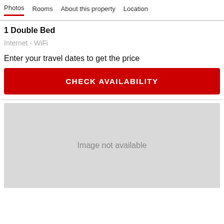Photos   Rooms   About this property   Location
1 Double Bed
Internet - WiFi
Enter your travel dates to get the price
CHECK AVAILABILITY
[Figure (photo): Image not available placeholder (gray rectangle)]